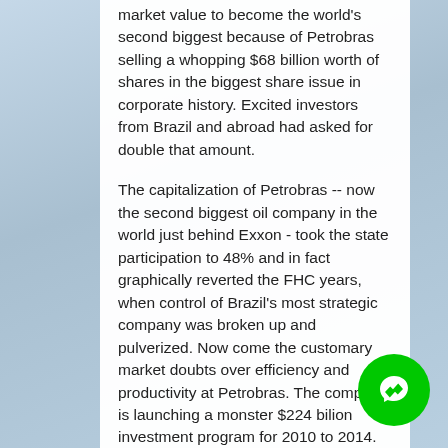market value to become the world's second biggest because of Petrobras selling a whopping $68 billion worth of shares in the biggest share issue in corporate history. Excited investors from Brazil and abroad had asked for double that amount.
The capitalization of Petrobras -- now the second biggest oil company in the world just behind Exxon - took the state participation to 48% and in fact graphically reverted the FHC years, when control of Brazil's most strategic company was broken up and pulverized. Now come the customary market doubts over efficiency and productivity at Petrobras. The company is launching a monster $224 bilion investment program for 2010 to 2014. For those like the PT staunchily defending Brazilian sovereignty, this Petrobras on steroids will be essential in the exploitation of pre-salt oil and its probable 50 billion barrels lying at the bottom of the Atlantic Ocean.